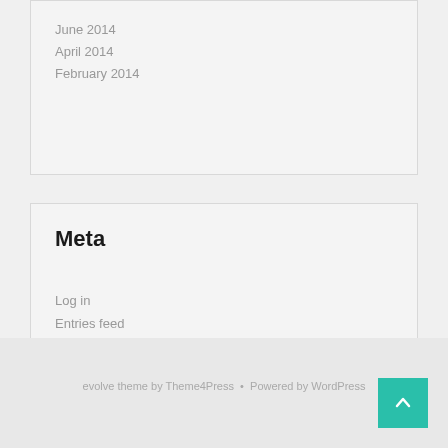June 2014
April 2014
February 2014
Meta
Log in
Entries feed
Comments feed
WordPress.org
evolve theme by Theme4Press · Powered by WordPress